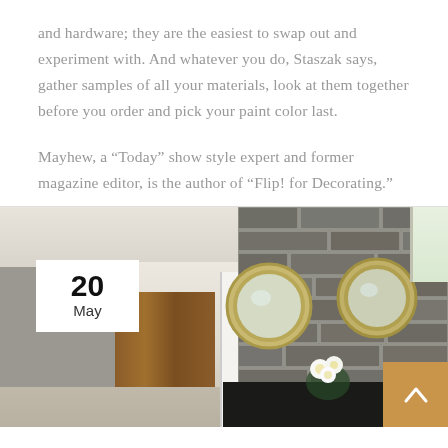and hardware; they are the easiest to swap out and experiment with. And whatever you do, Staszak says, gather samples of all your materials, look at them together before you order and pick your paint color last.
Mayhew, a “Today” show style expert and former magazine editor, is the author of “Flip! for Decorating.”
[Figure (photo): Interior photo of a bathroom or home space featuring a stone wall, two round gold-framed mirrors, a window, recessed lighting, wooden cabinet doors, a white door, and white flowers in a vase. A date badge showing '20 May' is overlaid on the bottom-left of the image. An orange arrow (up) button appears in the bottom-right corner.]